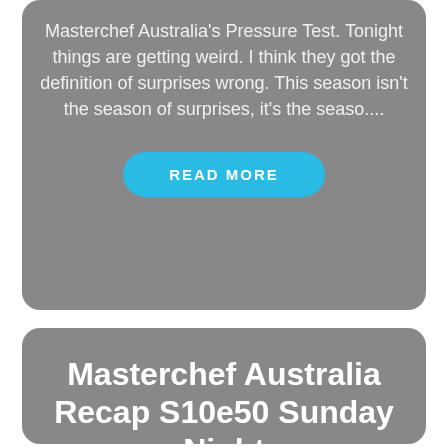Masterchef Australia's Pressure Test. Tonight things are getting weird. I think they got the definition of surprises wrong. This season isn't the season of surprises, it's the seaso....
READ MORE
Masterchef Australia Recap S10e50 Sunday Night
16-July-2018